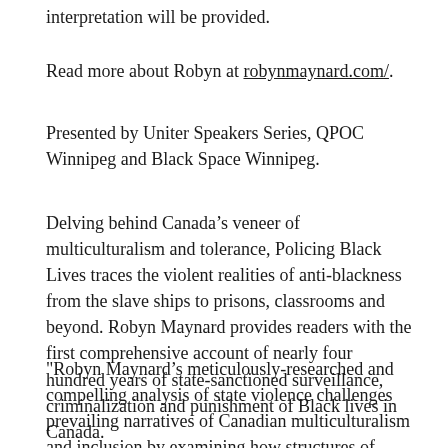interpretation will be provided.
Read more about Robyn at robynmaynard.com/.
Presented by Uniter Speakers Series, QPOC Winnipeg and Black Space Winnipeg.
Delving behind Canada’s veneer of multiculturalism and tolerance, Policing Black Lives traces the violent realities of anti-blackness from the slave ships to prisons, classrooms and beyond. Robyn Maynard provides readers with the first comprehensive account of nearly four hundred years of state-sanctioned surveillance, criminalization and punishment of Black lives in Canada.
"Robyn Maynard’s meticulously-researched and compelling analysis of state violence challenges prevailing narratives of Canadian multiculturalism and inclusion by examining how structures of racism and ideologies of gender are complexly anchored in global histories of colonization and slavery." —